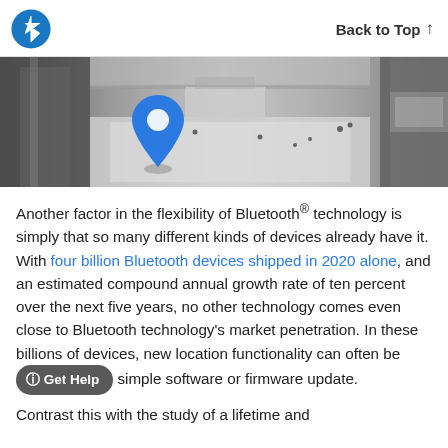Back to Top ↑
[Figure (photo): Aerial black-and-white photo of a shopping mall interior with a blue location pin marker overlaid, showing people walking on the ground floor viewed from above.]
Another factor in the flexibility of Bluetooth® technology is simply that so many different kinds of devices already have it. With four billion Bluetooth devices shipped in 2020 alone, and an estimated compound annual growth rate of ten percent over the next five years, no other technology comes even close to Bluetooth technology's market penetration. In these billions of devices, new location functionality can often be [Get Help] simple software or firmware update.
Contrast this with the study of a lifetime and ...